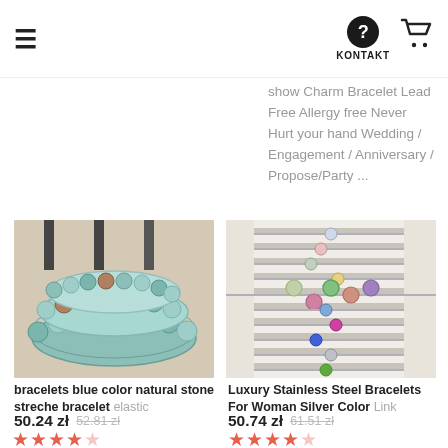= KONTAKT 🛒
show Charm bracelet Lead Free Allergy free Never Hurt your hand Wedding / Engagement / Anniversary / Propose/Party ...
[Figure (photo): Stack of blue natural stone bead stretch bracelets on a light surface]
bracelets blue color natural stone streche bracelet elastic
50.24 zł  52.81 zł  ★★★★☆  ocena: 4.5
[Figure (photo): Luxury stainless steel silver chain bracelets with colorful gemstone pendants displayed on a striped holder]
Luxury Stainless Steel Bracelets For Woman Silver Color Link
50.74 zł  61.51 zł  ★★★★☆  ocena: 4.5